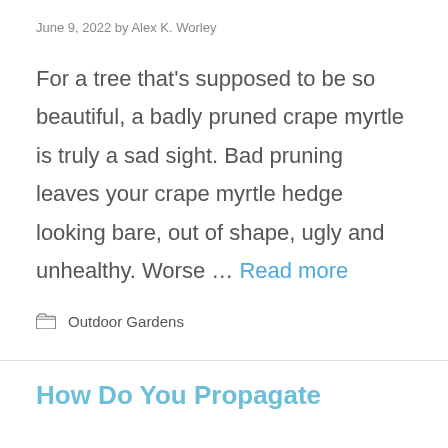June 9, 2022 by Alex K. Worley
For a tree that's supposed to be so beautiful, a badly pruned crape myrtle is truly a sad sight. Bad pruning leaves your crape myrtle hedge looking bare, out of shape, ugly and unhealthy. Worse … Read more
Outdoor Gardens
How Do You Propagate